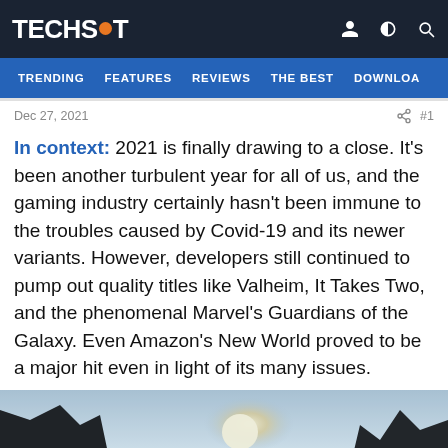TECHSPOT
TRENDING  FEATURES  REVIEWS  THE BEST  DOWNLOA
Dec 27, 2021  #1
In context: 2021 is finally drawing to a close. It's been another turbulent year for all of us, and the gaming industry certainly hasn't been immune to the troubles caused by Covid-19 and its newer variants. However, developers still continued to pump out quality titles like Valheim, It Takes Two, and the phenomenal Marvel's Guardians of the Galaxy. Even Amazon's New World proved to be a major hit even in light of its many issues.
[Figure (photo): Game screenshot showing a fantasy/sci-fi scene with creatures and dramatic lighting against cliffs and sky]